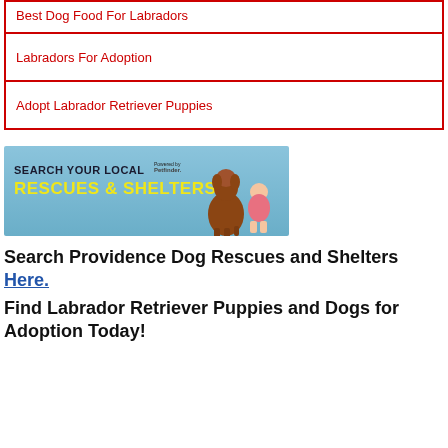Best Dog Food For Labradors
Labradors For Adoption
Adopt Labrador Retriever Puppies
[Figure (infographic): Banner ad: 'SEARCH YOUR LOCAL RESCUES & SHELTERS' powered by Petfinder, with images of a Labrador and a baby/toddler]
Search Providence Dog Rescues and Shelters Here.
Find Labrador Retriever Puppies and Dogs for Adoption Today!